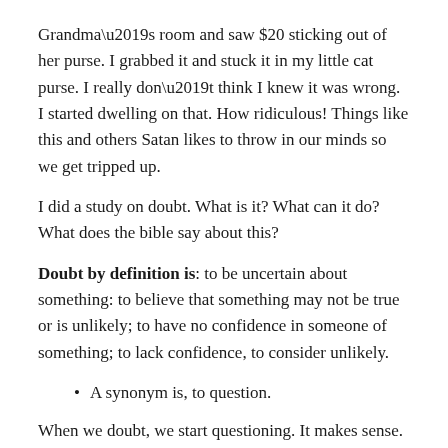Grandma’s room and saw $20 sticking out of her purse. I grabbed it and stuck it in my little cat purse. I really don’t think I knew it was wrong. I started dwelling on that. How ridiculous! Things like this and others Satan likes to throw in our minds so we get tripped up.
I did a study on doubt. What is it? What can it do? What does the bible say about this?
Doubt by definition is: to be uncertain about something: to believe that something may not be true or is unlikely; to have no confidence in someone of something; to lack confidence, to consider unlikely.
A synonym is, to question.
When we doubt, we start questioning. It makes sense. I started questioning God did you ever forgive me? I remember getting saved so yes he did but sometime the question still remains.